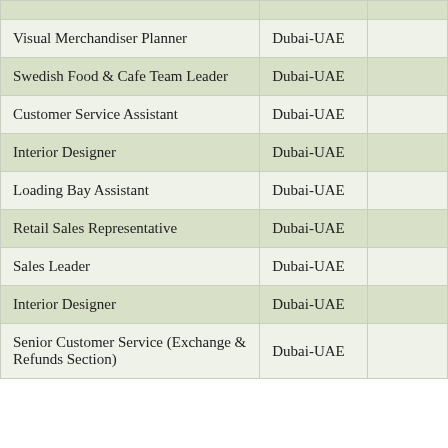| Visual Merchandiser Planner | Dubai-UAE |  |
| Swedish Food & Cafe Team Leader | Dubai-UAE |  |
| Customer Service Assistant | Dubai-UAE |  |
| Interior Designer | Dubai-UAE |  |
| Loading Bay Assistant | Dubai-UAE |  |
| Retail Sales Representative | Dubai-UAE |  |
| Sales Leader | Dubai-UAE |  |
| Interior Designer | Dubai-UAE |  |
| Senior Customer Service (Exchange & Refunds Section) | Dubai-UAE |  |